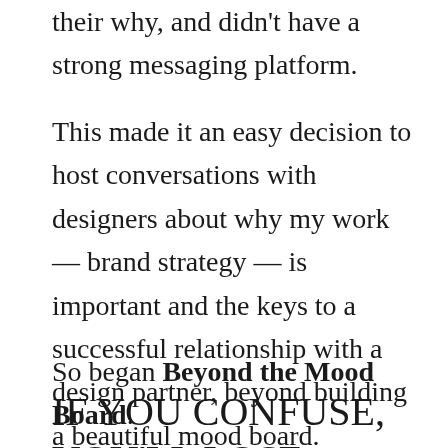their why, and didn't have a strong messaging platform.
This made it an easy decision to host conversations with designers about why my work — brand strategy — is important and the keys to a successful relationship with a design partner, beyond building a beautiful mood board.
So began Beyond the Mood Board.
IF YOU CONFUSE, YOU'LL LOSE